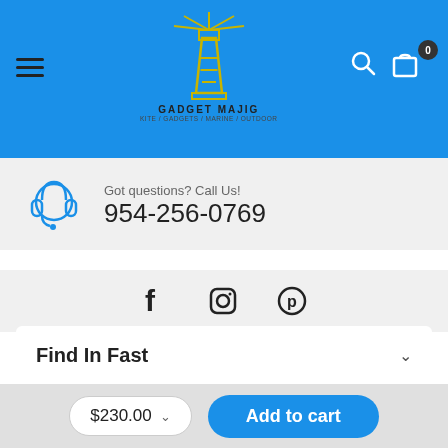[Figure (logo): Gadget Majig store header with blue background, hamburger menu on left, lighthouse logo in center (yellow outline), brand name GADGET MAJIG, breadcrumb text, search icon and shopping bag icon on right with dark cart badge]
Got questions? Call Us!
954-256-0769
[Figure (infographic): Social media icons: Facebook (f), Instagram (camera), Pinterest (p circle)]
Find In Fast
Outdoor
$230.00  Add to cart